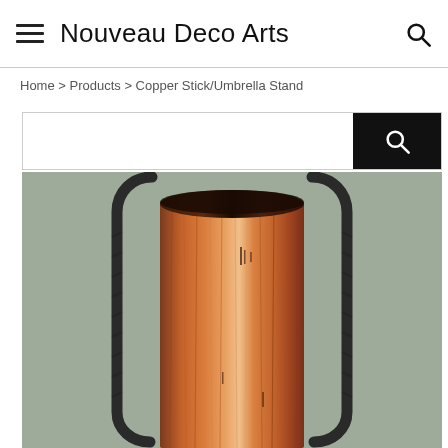Nouveau Deco Arts
Home > Products > Copper Stick/Umbrella Stand
[Figure (screenshot): Search bar with text input field and black search button with magnifying glass icon]
[Figure (photo): Copper Stick/Umbrella Stand — a tall cylindrical hammered copper vessel with dark wrought-iron bracket handles on either side, photographed against a muted grey-green background]